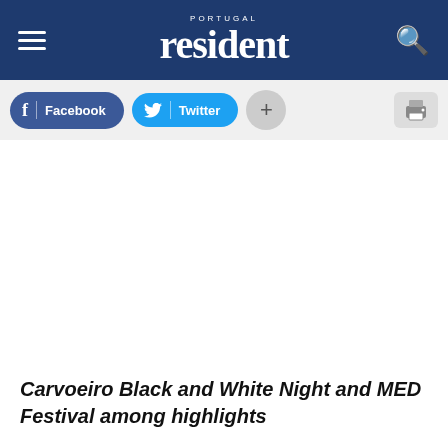PORTUGAL resident
[Figure (screenshot): Social sharing buttons: Facebook (blue rounded button), Twitter (cyan rounded button), plus button (gray circle), and print icon (gray rectangle)]
Carvoeiro Black and White Night and MED Festival among highlights